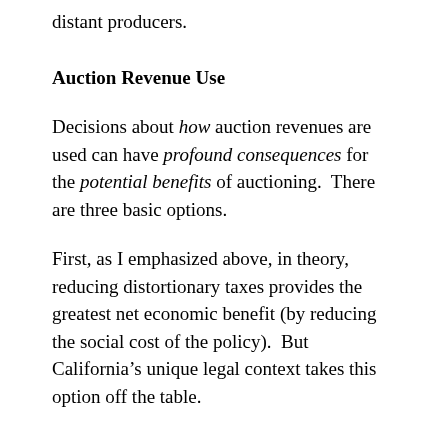distant producers.
Auction Revenue Use
Decisions about how auction revenues are used can have profound consequences for the potential benefits of auctioning. There are three basic options.
First, as I emphasized above, in theory, reducing distortionary taxes provides the greatest net economic benefit (by reducing the social cost of the policy). But California’s unique legal context takes this option off the table.